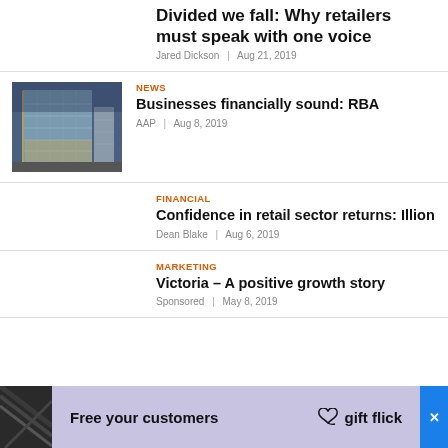Divided we fall: Why retailers must speak with one voice
Jared Dickson | Aug 21, 2019
[Figure (photo): Modern glass office building at dusk]
NEWS
Businesses financially sound: RBA
AAP | Aug 8, 2019
FINANCIAL
Confidence in retail sector returns: Illion
Dean Blake | Aug 6, 2019
MARKETING
Victoria – A positive growth story
Sponsored | May 8, 2019
[Figure (other): Advertisement banner: Free your customers - gift flick logo]